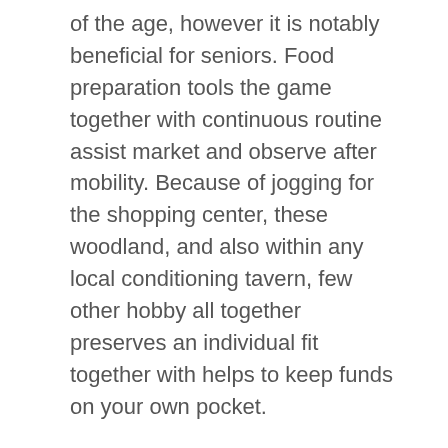of the age, however it is notably beneficial for seniors. Food preparation tools the game together with continuous routine assist market and observe after mobility. Because of jogging for the shopping center, these woodland, and also within any local conditioning tavern, few other hobby all together preserves an individual fit together with helps to keep funds on your own pocket.
Volunteering. Volunteering for fundraising happenings, nearby dog shelters, along with resident stores offer an ideal probability to hold interpersonal together with self-worth strong subsequently after retirement. If golden-agers move, not uncommon from which sense that they have sacrificed your good sense connected with purpose. Volunteering helps folks look and feel